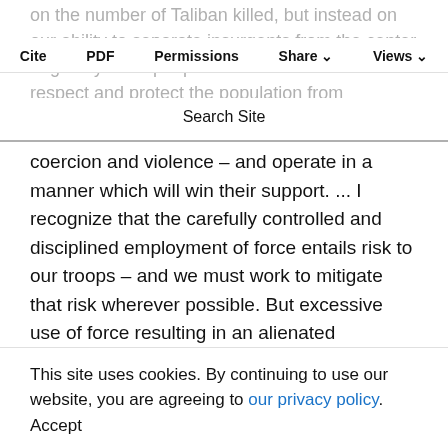on the number of Taliban killed, but instead on our ability to separate insurgents from the center of gravity – the people. That means we must respect and protect the population from
Cite  PDF  Permissions  Share  Views  Search Site
coercion and violence – and operate in a manner which will win their support. ... I recognize that the carefully controlled and disciplined employment of force entails risk to our troops – and we must work to mitigate that risk wherever possible. But excessive use of force resulting in an alienated population produces far greater risks. We must understand this reality at every level in our
This site uses cookies. By continuing to use our website, you are agreeing to our privacy policy. Accept
against residential compounds and other